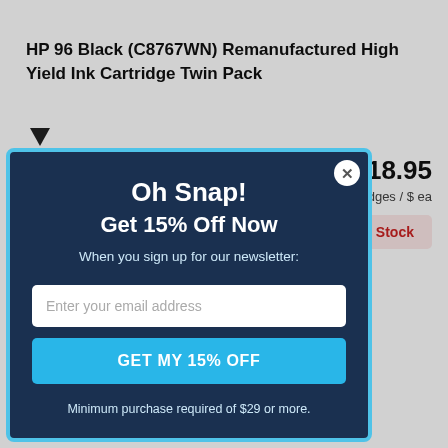HP 96 Black (C8767WN) Remanufactured High Yield Ink Cartridge Twin Pack
$18.95
2 Cartridges / $ ea
Out Of Stock
[Figure (screenshot): Modal popup with dark blue background and cyan border. Contains heading 'Oh Snap! Get 15% Off Now', subtext 'When you sign up for our newsletter:', an email input field, a 'GET MY 15% OFF' button, and fine print 'Minimum purchase required of $29 or more.']